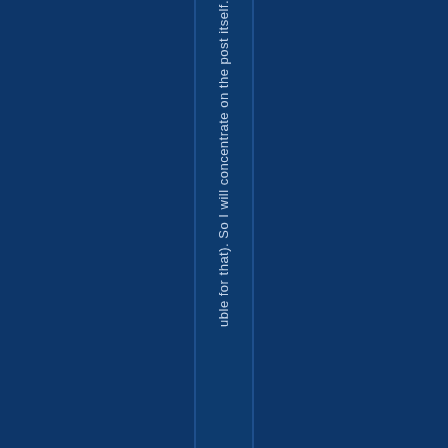uble for that). So I will concentrate on the post itself.